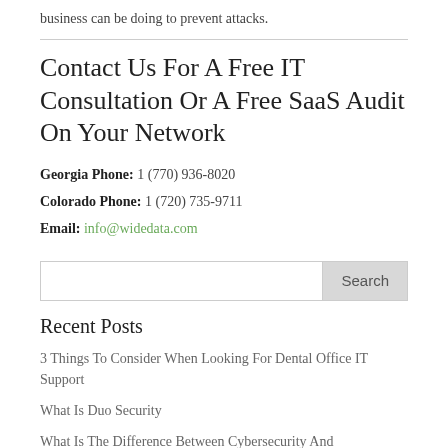business can be doing to prevent attacks.
Contact Us For A Free IT Consultation Or A Free SaaS Audit On Your Network
Georgia Phone: 1 (770) 936-8020
Colorado Phone: 1 (720) 735-9711
Email: info@widedata.com
Recent Posts
3 Things To Consider When Looking For Dental Office IT Support
What Is Duo Security
What Is The Difference Between Cybersecurity And